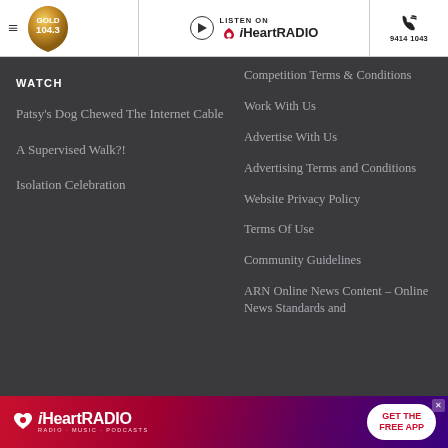GOLD 104.3 | LISTEN ON iHeartRADIO | 9414 1043
WATCH
Patsy's Dog Chewed The Internet Cable
A Supervised Walk?!
Isolation Celebration
Competition Terms & Conditions
Work With Us
Advertise With Us
Advertising Terms and Conditions
Website Privacy Policy
Terms Of Use
Community Guidelines
ARN Online News Content – Online News Standards and
[Figure (logo): iHeartRADIO advertisement banner with GET THE FREE APP button]